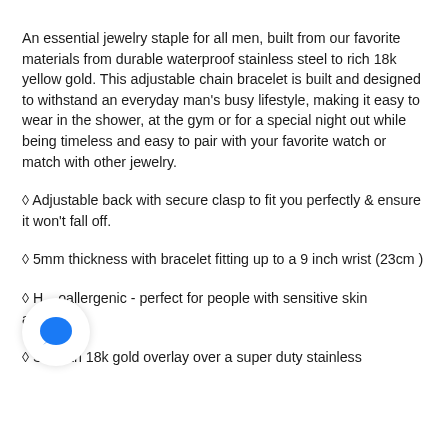An essential jewelry staple for all men, built from our favorite materials from durable waterproof stainless steel to rich 18k yellow gold. This adjustable chain bracelet is built and designed to withstand an everyday man's busy lifestyle, making it easy to wear in the shower, at the gym or for a special night out while being timeless and easy to pair with your favorite watch or match with other jewelry.
◇ Adjustable back with secure clasp to fit you perfectly & ensure it won't fall off.
◇ 5mm thickness with bracelet fitting up to a 9 inch wrist (23cm )
◇ Hypoallergenic - perfect for people with sensitive skin allergies.
◇ Smooth 18k gold overlay over a super duty stainless steel...